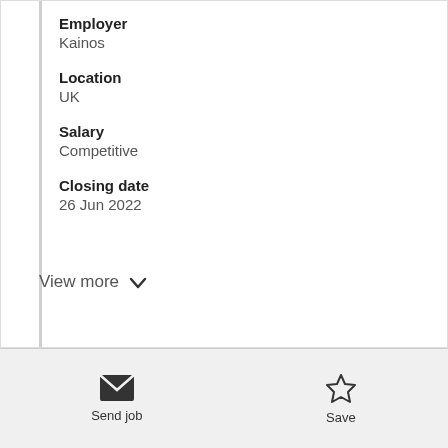Employer
Kainos
Location
UK
Salary
Competitive
Closing date
26 Jun 2022
View more
Send job
Save